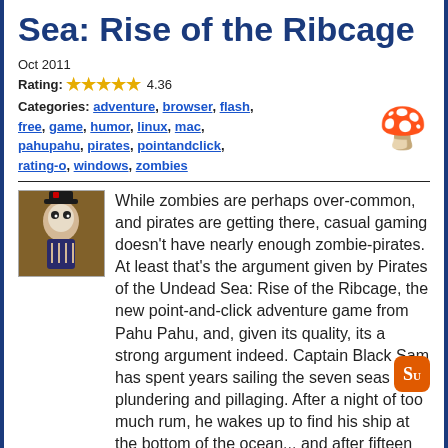Sea: Rise of the Ribcage
Oct 2011
Rating: ★★★★½ 4.36
Categories: adventure, browser, flash, free, game, humor, linux, mac, pahupahu, pirates, pointandclick, rating-o, windows, zombies
[Figure (photo): Thumbnail image of a zombie pirate character]
While zombies are perhaps over-common, and pirates are getting there, casual gaming doesn't have nearly enough zombie-pirates. At least that's the argument given by Pirates of the Undead Sea: Rise of the Ribcage, the new point-and-click adventure game from Pahu Pahu, and, given its quality, its a strong argument indeed. Captain Black Sam has spent years sailing the seven seas plundering and pillaging. After a night of too much rum, he wakes up to find his ship at the bottom of the ocean... and after fifteen years of decaying and trying to figure out why he isn't dead too, a chance mermaid-sighting convinces him the time